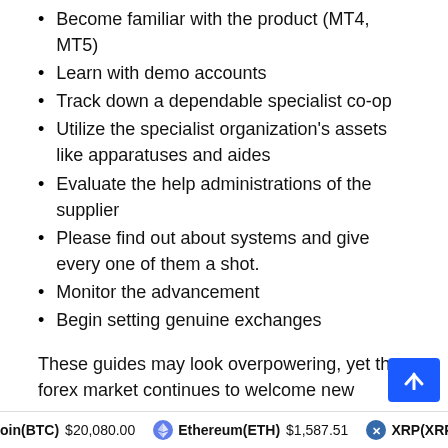Become familiar with the product (MT4, MT5)
Learn with demo accounts
Track down a dependable specialist co-op
Utilize the specialist organization's assets like apparatuses and aides
Evaluate the help administrations of the supplier
Please find out about systems and give every one of them a shot.
Monitor the advancement
Begin setting genuine exchanges
These guides may look overpowering, yet the forex market continues to welcome new
Bitcoin(BTC) $20,080.00   Ethereum(ETH) $1,587.51   XRP(XRP)